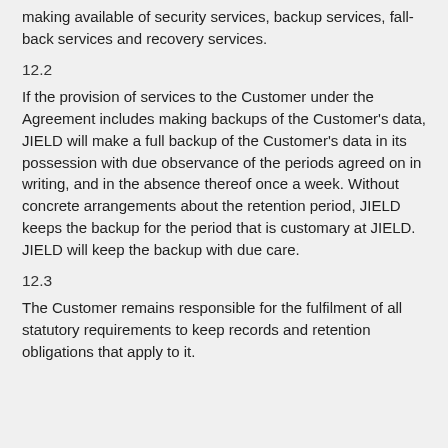making available of security services, backup services, fall-back services and recovery services.
12.2
If the provision of services to the Customer under the Agreement includes making backups of the Customer's data, JIELD will make a full backup of the Customer's data in its possession with due observance of the periods agreed on in writing, and in the absence thereof once a week. Without concrete arrangements about the retention period, JIELD keeps the backup for the period that is customary at JIELD. JIELD will keep the backup with due care.
12.3
The Customer remains responsible for the fulfilment of all statutory requirements to keep records and retention obligations that apply to it.